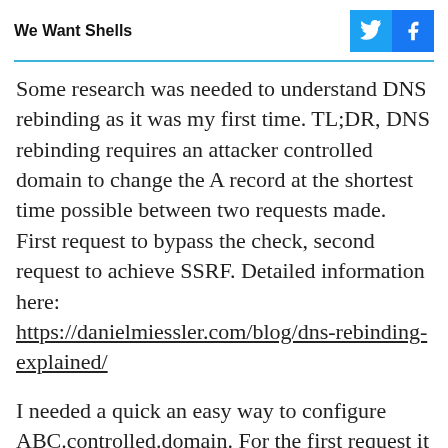We Want Shells
Some research was needed to understand DNS rebinding as it was my first time. TL;DR, DNS rebinding requires an attacker controlled domain to change the A record at the shortest time possible between two requests made. First request to bypass the check, second request to achieve SSRF. Detailed information here: https://danielmiessler.com/blog/dns-rebinding-explained/
I needed a quick an easy way to configure ABC.controlled.domain. For the first request it makes to my controlled domain, it will provide a valid public IP address. For the subsequent request a high